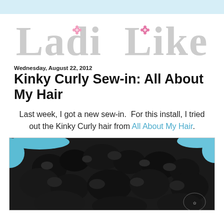Ladi Like
Wednesday, August 22, 2012
Kinky Curly Sew-in: All About My Hair
Last week, I got a new sew-in.  For this install, I tried out the Kinky Curly hair from All About My Hair.
[Figure (photo): Photo of kinky curly black hair extensions laid on a blue surface, showing tight curled texture. A decorative watermark is visible in the lower right corner.]